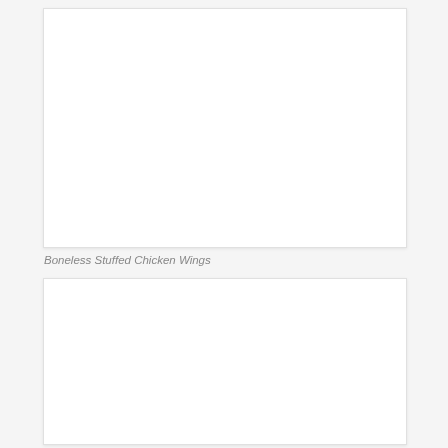[Figure (photo): Large white/blank image placeholder at the top of the page]
Boneless Stuffed Chicken Wings
[Figure (photo): Large white/blank image placeholder at the bottom of the page]